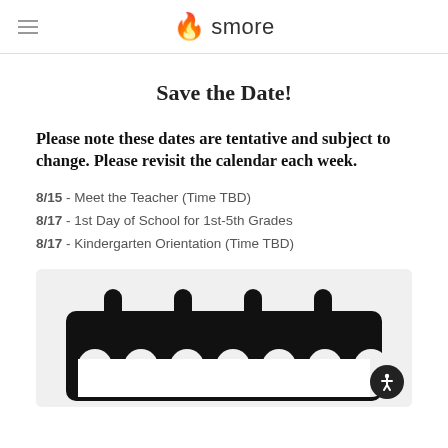smore
Save the Date!
Please note these dates are tentative and subject to change. Please revisit the calendar each week.
8/15 - Meet the Teacher (Time TBD)
8/17 - 1st Day of School for 1st-5th Grades
8/17 - Kindergarten Orientation (Time TBD)
[Figure (illustration): Black and white calendar illustration showing calendar tabs at top and a figure below, on a light grey background]